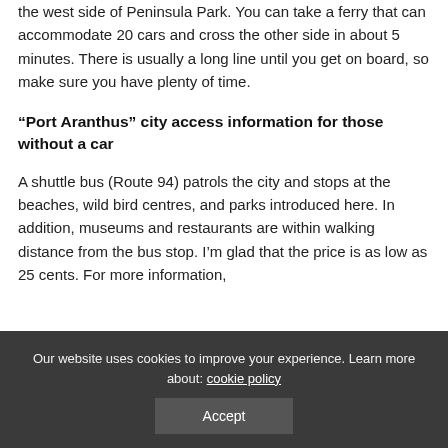the west side of Peninsula Park. You can take a ferry that can accommodate 20 cars and cross the other side in about 5 minutes. There is usually a long line until you get on board, so make sure you have plenty of time.
“Port Aranthus” city access information for those without a car
A shuttle bus (Route 94) patrols the city and stops at the beaches, wild bird centres, and parks introduced here. In addition, museums and restaurants are within walking distance from the bus stop. I’m glad that the price is as low as 25 cents. For more information, please look at the “Coverto Charlotte Boutand Transportation (CCBT)”
Our website uses cookies to improve your experience. Learn more about: cookie policy
Accept